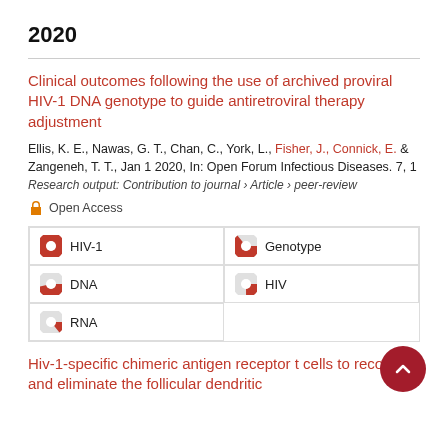2020
Clinical outcomes following the use of archived proviral HIV-1 DNA genotype to guide antiretroviral therapy adjustment
Ellis, K. E., Nawas, G. T., Chan, C., York, L., Fisher, J., Connick, E. & Zangeneh, T. T., Jan 1 2020, In: Open Forum Infectious Diseases. 7, 1
Research output: Contribution to journal › Article › peer-review
Open Access
| HIV-1 | Genotype |
| DNA | HIV |
| RNA |  |
Hiv-1-specific chimeric antigen receptor t cells to recognize and eliminate the follicular dendritic